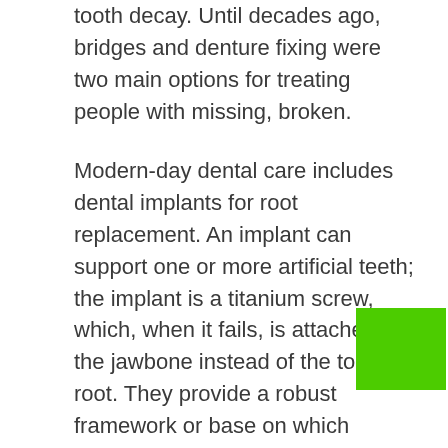tooth decay. Until decades ago, bridges and denture fixing were two main options for treating people with missing, broken.
Modern-day dental care includes dental implants for root replacement. An implant can support one or more artificial teeth; the implant is a titanium screw, which, when it fails, is attached to the jawbone instead of the tooth root. They provide a robust framework or base on which temporary or permanent teeth can fit in existing natural teeth.
Implantation procedure
Most dental implants can be done safely in the doctor's office under local anesthesia. Dental implant treatment is different because it requires the patient's